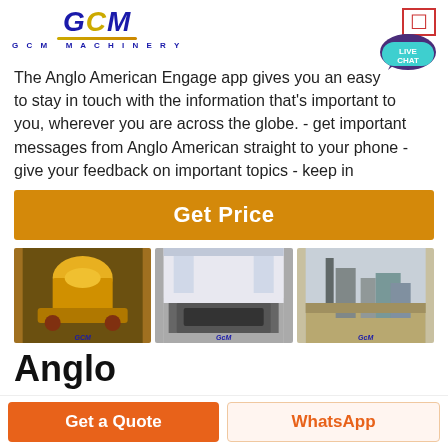GCM MACHINERY
The Anglo American Engage app gives you an easy to stay in touch with the information that's important to you, wherever you are across the globe. - get important messages from Anglo American straight to your phone - give your feedback on important topics - keep in
[Figure (other): Orange Get Price button]
[Figure (photo): Three machinery photos with GCM watermarks: yellow cone crusher, industrial machine in factory, and industrial plant exterior]
Anglo
[Figure (other): Bottom navigation bar with Get a Quote and WhatsApp buttons]